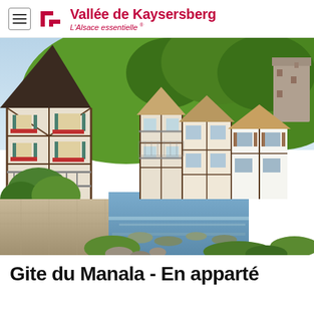Vallée de Kaysersberg — L'Alsace essentielle®
[Figure (photo): Scenic view of an Alsatian village with traditional half-timbered houses along a river, with green forested hills and a stone tower in the background. A rocky weir crosses the stream in the foreground.]
Gite du Manala - En apparté